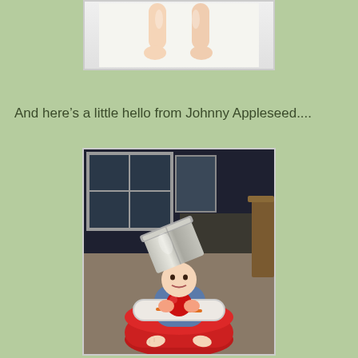[Figure (photo): Photo of baby legs/feet on a white surface, partially visible at top of page]
And here’s a little hello from Johnny Appleseed....
[Figure (photo): Baby sitting in a red Bumbo seat with a metal pot/tin on its head, holding a red apple, tray in front]